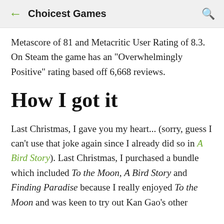Choicest Games
Metascore of 81 and Metacritic User Rating of 8.3. On Steam the game has an "Overwhelmingly Positive" rating based off 6,668 reviews.
How I got it
Last Christmas, I gave you my heart... (sorry, guess I can't use that joke again since I already did so in A Bird Story). Last Christmas, I purchased a bundle which included To the Moon, A Bird Story and Finding Paradise because I really enjoyed To the Moon and was keen to try out Kan Gao's other